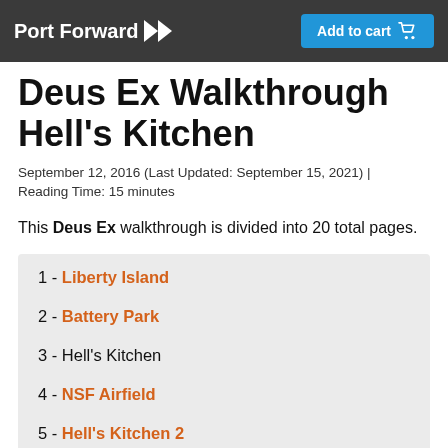Port Forward | Add to cart
Deus Ex Walkthrough Hell's Kitchen
September 12, 2016 (Last Updated: September 15, 2021) | Reading Time: 15 minutes
This Deus Ex walkthrough is divided into 20 total pages.
1 - Liberty Island
2 - Battery Park
3 - Hell's Kitchen
4 - NSF Airfield
5 - Hell's Kitchen 2